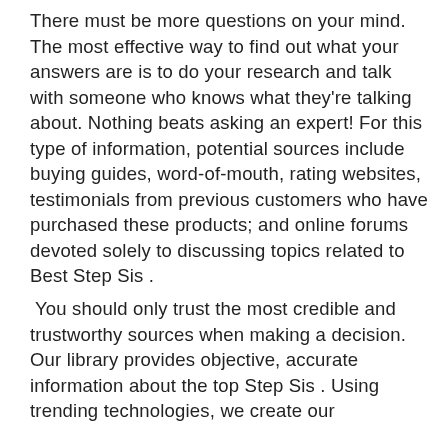There must be more questions on your mind. The most effective way to find out what your answers are is to do your research and talk with someone who knows what they're talking about. Nothing beats asking an expert! For this type of information, potential sources include buying guides, word-of-mouth, rating websites, testimonials from previous customers who have purchased these products; and online forums devoted solely to discussing topics related to Best Step Sis .
You should only trust the most credible and trustworthy sources when making a decision. Our library provides objective, accurate information about the top Step Sis . Using trending technologies, we create our